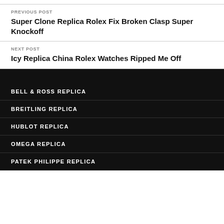PREVIOUS POST
Super Clone Replica Rolex Fix Broken Clasp Super Knockoff
NEXT POST
Icy Replica China Rolex Watches Ripped Me Off
BELL & ROSS REPLICA
BREITLING REPLICA
HUBLOT REPLICA
OMEGA REPLICA
PATEK PHILIPPE REPLICA